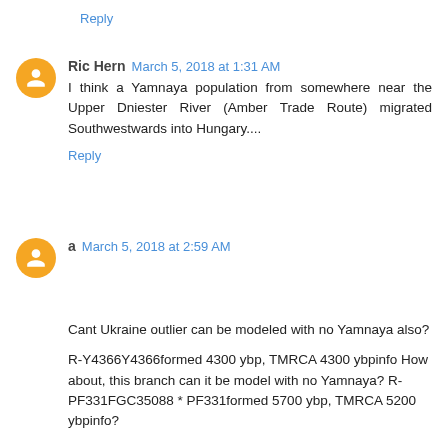Reply
Ric Hern  March 5, 2018 at 1:31 AM
I think a Yamnaya population from somewhere near the Upper Dniester River (Amber Trade Route) migrated Southwestwards into Hungary....
Reply
a  March 5, 2018 at 2:59 AM
Cant Ukraine outlier can be modeled with no Yamnaya also?

R-Y4366Y4366formed 4300 ybp, TMRCA 4300 ybpinfo How about, this branch can it be model with no Yamnaya? R-PF331FGC35088 * PF331formed 5700 ybp, TMRCA 5200 ybpinfo?